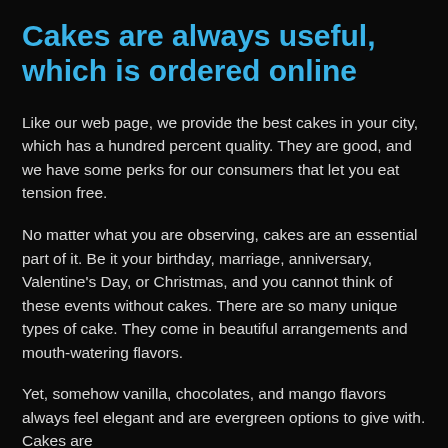Cakes are always useful, which is ordered online
Like our web page, we provide the best cakes in your city, which has a hundred percent quality. They are good, and we have some perks for our consumers that let you eat tension free.
No matter what you are observing, cakes are an essential part of it. Be it your birthday, marriage, anniversary, Valentine's Day, or Christmas, and you cannot think of these events without cakes. There are so many unique types of cake. They come in beautiful arrangements and mouth-watering flavors.
Yet, somehow vanilla, chocolates, and mango flavors always feel elegant and are evergreen options to give with. Cakes are